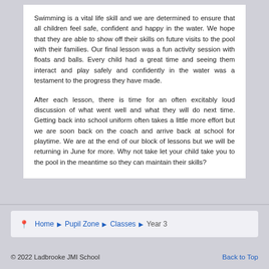Swimming is a vital life skill and we are determined to ensure that all children feel safe, confident and happy in the water. We hope that they are able to show off their skills on future visits to the pool with their families. Our final lesson was a fun activity session with floats and balls. Every child had a great time and seeing them interact and play safely and confidently in the water was a testament to the progress they have made.
After each lesson, there is time for an often excitably loud discussion of what went well and what they will do next time. Getting back into school uniform often takes a little more effort but we are soon back on the coach and arrive back at school for playtime. We are at the end of our block of lessons but we will be returning in June for more. Why not take let your child take you to the pool in the meantime so they can maintain their skills?
Home ▶ Pupil Zone ▶ Classes ▶ Year 3
© 2022 Ladbrooke JMI School    Back to Top